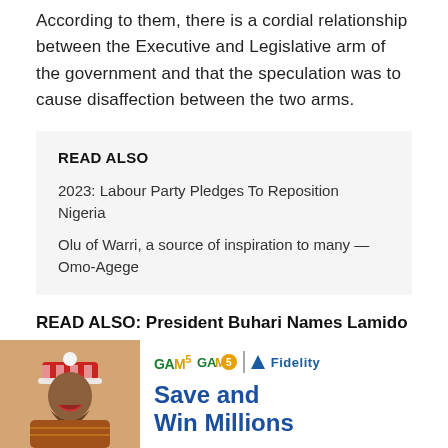According to them, there is a cordial relationship between the Executive and Legislative arm of the government and that the speculation was to cause disaffection between the two arms.
READ ALSO
2023: Labour Party Pledges To Reposition Nigeria
Olu of Warri, a source of inspiration to many — Omo-Agege
READ ALSO: President Buhari Names Lamido Yuguda New Director-General SEC
[Figure (infographic): Advertisement for Fidelity Bank GAM5 Promo showing a man in festive attire with the tagline 'Save and Win Millions']